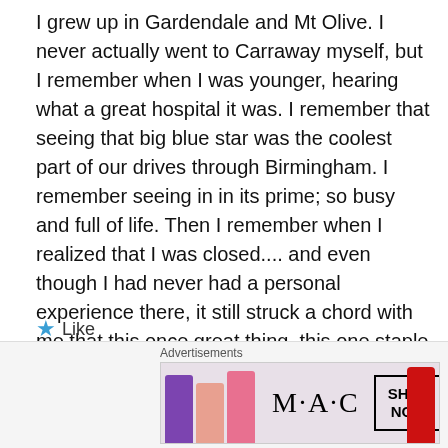I grew up in Gardendale and Mt Olive. I never actually went to Carraway myself, but I remember when I was younger, hearing what a great hospital it was. I remember that seeing that big blue star was the coolest part of our drives through Birmingham. I remember seeing in in its prime; so busy and full of life. Then I remember when I realized that I was closed.... and even though I had never had a personal experience there, it still struck a chord with me that this once great thing, this one staple in my childhood is now gone.
★ Like
Reply
Advertisements
[Figure (photo): MAC cosmetics advertisement banner showing lipsticks and MAC logo with SHOP NOW box]